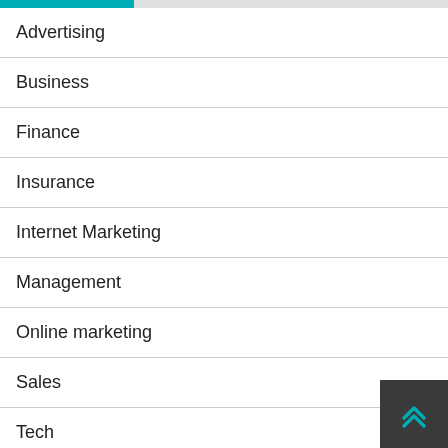[Figure (other): Teal/green progress bar at top of page, approximately 30% filled]
Advertising
Business
Finance
Insurance
Internet Marketing
Management
Online marketing
Sales
Tech
Uncategorized